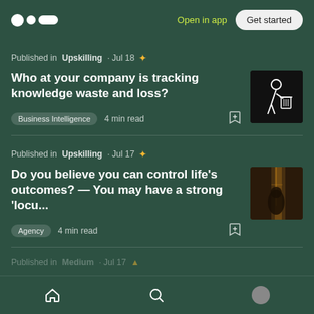Open in app | Get started
Published in Upskilling · Jul 18 ✦
Who at your company is tracking knowledge waste and loss?
Business Intelligence  4 min read
[Figure (photo): Dark image of a person figure throwing something in a trash can, drawn in white outline on black background]
Published in Upskilling · Jul 17 ✦
Do you believe you can control life's outcomes? — You may have a strong 'locu...
Agency  4 min read
[Figure (photo): Dark moody photo of a person sitting near a window with light streaming in]
Published in Medium · Jul 17 ✦